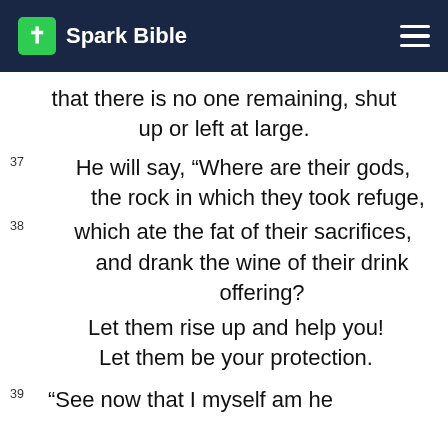Spark Bible
that there is no one remaining, shut up or left at large.
37 He will say, “Where are their gods, the rock in which they took refuge,
38 which ate the fat of their sacrifices, and drank the wine of their drink offering?
Let them rise up and help you! Let them be your protection.
39 “See now that I myself am he